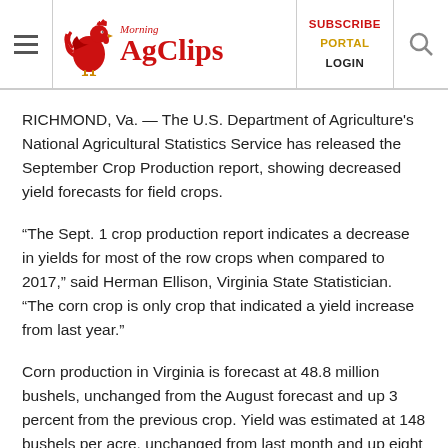Morning AgClips — SUBSCRIBE PORTAL LOGIN
RICHMOND, Va. — The U.S. Department of Agriculture's National Agricultural Statistics Service has released the September Crop Production report, showing decreased yield forecasts for field crops.
“The Sept. 1 crop production report indicates a decrease in yields for most of the row crops when compared to 2017,” said Herman Ellison, Virginia State Statistician. “The corn crop is only crop that indicated a yield increase from last year.”
Corn production in Virginia is forecast at 48.8 million bushels, unchanged from the August forecast and up 3 percent from the previous crop. Yield was estimated at 148 bushels per acre, unchanged from last month and up eight bushels from the 2017 level. Acres for harvest as